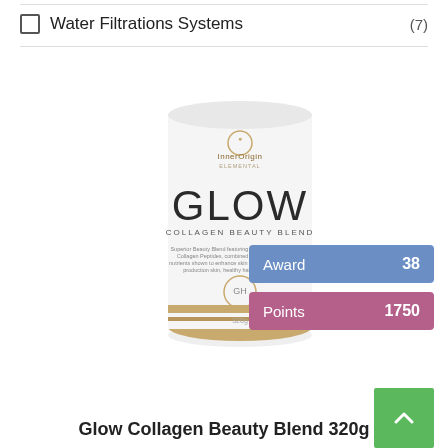Water Filtrations Systems (7)
[Figure (photo): Product photo of InnerOrigin GLOW Collagen Beauty Blend 320g canister, white cylindrical container with gold accents and large 'GLOW' text]
Award 38
Points 1750
Glow Collagen Beauty Blend 320g